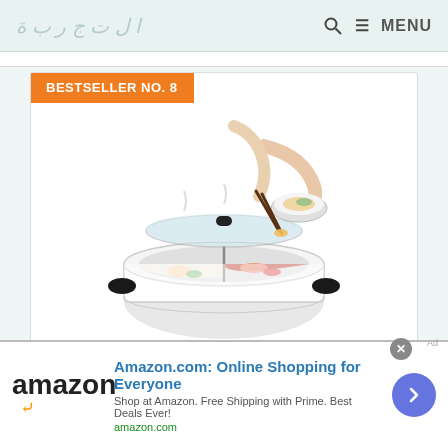≡ MENU
[Figure (photo): Hot pot with divider cooking pot product photo showing two people using chopsticks to serve food from a divided hot pot]
BESTSELLER NO. 8
Hot Pot with Divider Non-Stick Shabu Shabu Pot for Induction Cooking T...
[Figure (other): Amazon advertisement banner with logo, title 'Amazon.com: Online Shopping for Everyone', subtitle 'Shop at Amazon. Free Shipping with Prime. Best Deals Ever!', URL amazon.com, and a blue circular arrow button]